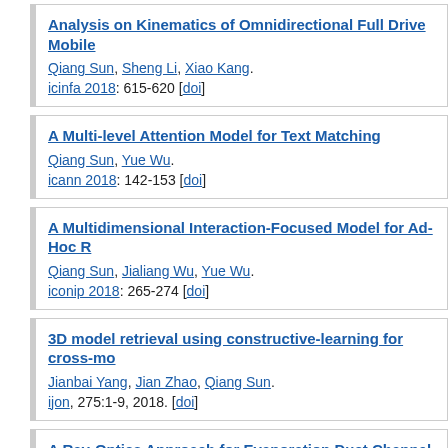Analysis on Kinematics of Omnidirectional Full Drive Mobile. Qiang Sun, Sheng Li, Xiao Kang. icinfa 2018: 615-620 [doi]
A Multi-level Attention Model for Text Matching. Qiang Sun, Yue Wu. icann 2018: 142-153 [doi]
A Multidimensional Interaction-Focused Model for Ad-Hoc R. Qiang Sun, Jialiang Wu, Yue Wu. iconip 2018: 265-274 [doi]
3D model retrieval using constructive-learning for cross-mo. Jianbai Yang, Jian Zhao, Qiang Sun. ijon, 275:1-9, 2018. [doi]
A Ray-Optics Approach for Evaporation Duct Channel Mode. Haifeng Zhou, Jue Wang, Qiang Sun, Wei Feng, Li You, Chen X...